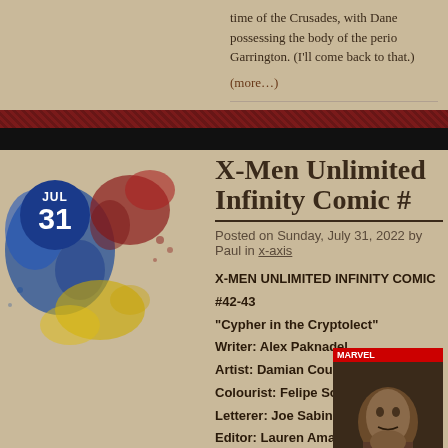time of the Crusades, with Dane possessing the body of the perio Garrington. (I'll come back to that.)
(more…)
X-Men Unlimited Infinity Comic #
Posted on Sunday, July 31, 2022 by Paul in x-axis
X-MEN UNLIMITED INFINITY COMIC #42-43
"Cypher in the Cryptolect"
Writer: Alex Paknadel
Artist: Damian Couceiro
Colourist: Felipe Sobreiro
Letterer: Joe Sabino
Editor: Lauren Amaro
X-Men Unlimited Infinity Comic, by far the longest running of the Infinity books, has settled into a role as a quirky diversion for X-completists. Is that the
[Figure (illustration): Comic book cover showing MARVEL logo at top on red bar, with dark illustrated character artwork below]